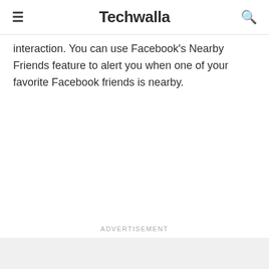Techwalla
interaction. You can use Facebook's Nearby Friends feature to alert you when one of your favorite Facebook friends is nearby.
Advertisement